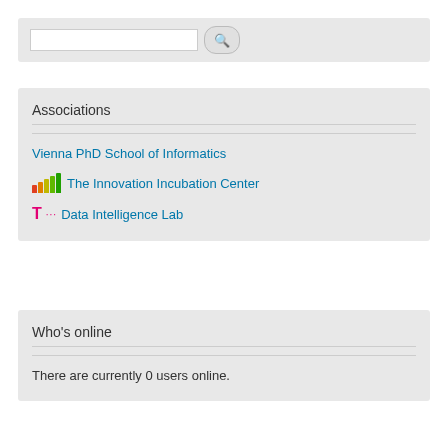[Figure (screenshot): Search input box with a search button (magnifying glass icon)]
Associations
Vienna PhD School of Informatics
The Innovation Incubation Center
Data Intelligence Lab
Who's online
There are currently 0 users online.